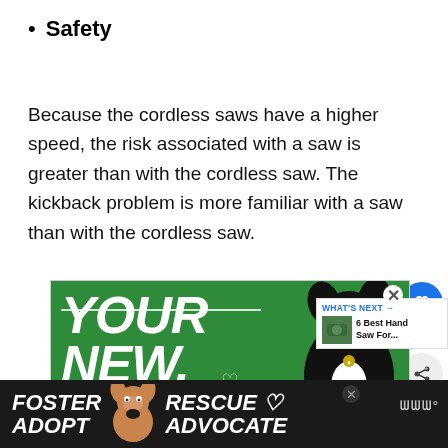Safety
Because the cordless saws have a higher speed, the risk associated with a saw is greater than with the cordless saw. The kickback problem is more familiar with a saw than with the cordless saw.
[Figure (screenshot): Advertisement banner with green background showing a black dog and text 'YOUR NEW BEE' in large white italic letters with heart symbols. A 'What's Next' widget shows '6 Best Hand Saw For...']
[Figure (screenshot): Bottom banner advertisement on dark background with text 'FOSTER ADOPT' and 'RESCUE ADVOCATE' in white italic letters with a dog image in the center]